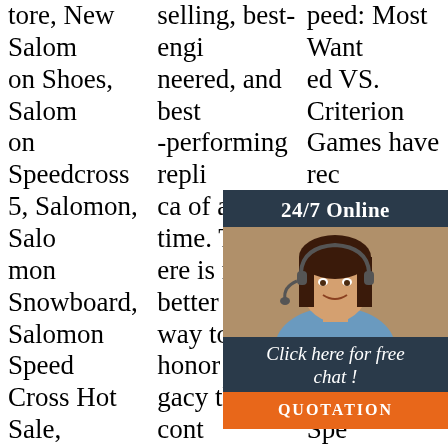tore, New Salomon Shoes, Salomon Speedcross 5, Salomon, Salomon Snowboard, Salomon Speed Cross Hot Sale, Free Fast Shipping And Delivery!
selling, best-engineered, and best-performing replica of all time. There is no better way to honor a legacy than to continue it. The Mk4 Roadster is designed to accurately reproduce the looks of the legendary 427 Cobra*, keeping its essence intact, while using modern technology parts
peed: Most Wanted VS. Criterion Games have recently released the new Need for Speed-franchise game titled Speed: Most Wanted, introduced game of the same name that was released back in 2005. Focusing on the purs
[Figure (other): Chat widget overlay showing a woman with headset, '24/7 Online' header, 'Click here for free chat!' text, and orange QUOTATION button]